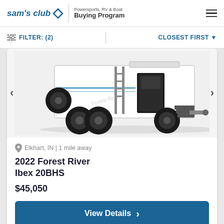sam's club Powersports, RV & Boat Buying Program
FILTER: (2)   CLOSEST FIRST
[Figure (photo): Side/rear view of a white 2022 Forest River Ibex 20BHS travel trailer RV with black wheels and entry steps, shown on a white background]
Elkhart, IN | 1 mile away
2022 Forest River Ibex 20BHS
$45,050
View Details